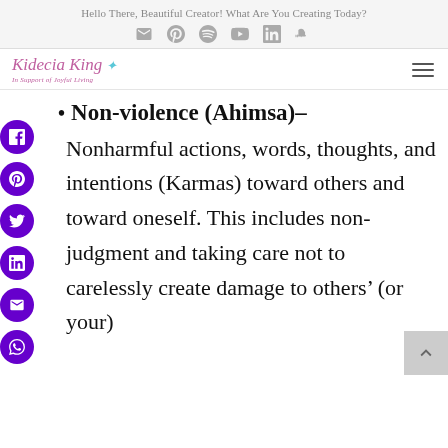Hello There, Beautiful Creator! What Are You Creating Today?
[Figure (logo): Kidecia King logo with tagline 'In Support of Joyful Living' and social media icons (email, pinterest, spotify, youtube, linkedin, soundcloud)]
[Figure (logo): Kidecia King blog logo with bird icon and hamburger menu]
Non-violence (Ahimsa)– Nonharmful actions, words, thoughts, and intentions (Karmas) toward others and toward oneself. This includes non-judgment and taking care not to carelessly create damage to others' (or your)